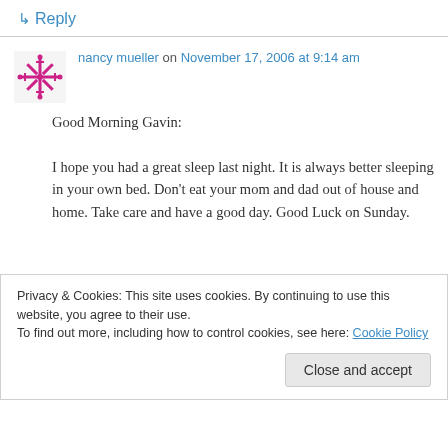↳ Reply
nancy mueller on November 17, 2006 at 9:14 am
Good Morning Gavin:
I hope you had a great sleep last night. It is always better sleeping in your own bed. Don't eat your mom and dad out of house and home. Take care and have a good day. Good Luck on Sunday.
Privacy & Cookies: This site uses cookies. By continuing to use this website, you agree to their use.
To find out more, including how to control cookies, see here: Cookie Policy
Close and accept